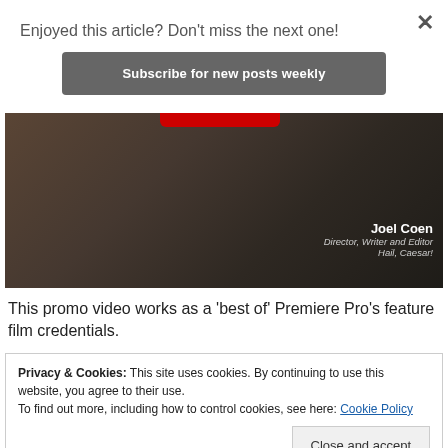Enjoyed this article? Don't miss the next one!
Subscribe for new posts weekly
[Figure (photo): Photo of Joel Coen, Director, Writer and Editor, Hail, Caesar! A man in a plaid shirt, partially lit, with a red YouTube logo partially visible at top.]
This promo video works as a 'best of' Premiere Pro's feature film credentials.
Privacy & Cookies: This site uses cookies. By continuing to use this website, you agree to their use.
To find out more, including how to control cookies, see here: Cookie Policy
Close and accept
[Figure (photo): Bottom thumbnail with red background and white italic bold text reading 'Faster. Together.']